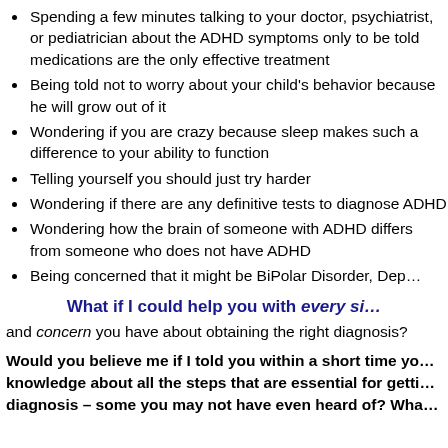Spending a few minutes talking to your doctor, psychiatrist, or pediatrician about the ADHD symptoms only to be told medications are the only effective treatment
Being told not to worry about your child's behavior because he will grow out of it
Wondering if you are crazy because sleep makes such a difference to your ability to function
Telling yourself you should just try harder
Wondering if there are any definitive tests to diagnose ADHD
Wondering how the brain of someone with ADHD differs from someone who does not have ADHD
Being concerned that it might be BiPolar Disorder, Depression, or something else
What if I could help you with every single question
and concern you have about obtaining the right diagnosis?
Would you believe me if I told you within a short time you could have knowledge about all the steps that are essential for getting a proper diagnosis – some you may not have even heard of? Wha